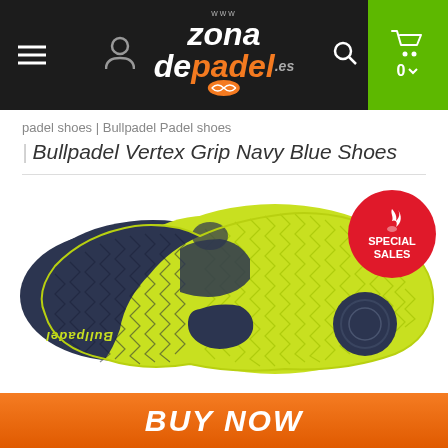Zona de Padel - navigation header with hamburger menu, user icon, logo, search, and cart
padel shoes | Bullpadel Padel shoes
| Bullpadel Vertex Grip Navy Blue Shoes
[Figure (photo): Bottom sole view of Bullpadel Vertex Grip Navy Blue Shoes showing yellow-green herringbone tread pattern on the majority of the sole and dark navy blue sections, with Bullpadel logo text visible on the heel area. A SPECIAL SALES red circular badge is overlaid in the top-right corner with a flame icon.]
BUY NOW